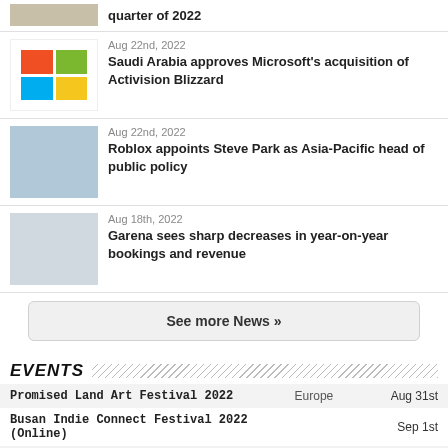quarter of 2022
Aug 22nd, 2022 — Saudi Arabia approves Microsoft's acquisition of Activision Blizzard
Aug 22nd, 2022 — Roblox appoints Steve Park as Asia-Pacific head of public policy
Aug 18th, 2022 — Garena sees sharp decreases in year-on-year bookings and revenue
See more News »
EVENTS
| Event | Region | Date |
| --- | --- | --- |
| Promised Land Art Festival 2022 | Europe | Aug 31st |
| Busan Indie Connect Festival 2022 (Online) |  | Sep 1st |
| Indie Game Business Sessions 2022 |  | Sep 1st |
| HGC 2022 Turkey & Africa Edition |  | Sep 1st |
| PAX West 2022 | North America | Sep 2nd |
| PDXCON 2022 | Nordic | Sep 2nd |
| DICE Europe 2022 | Europe | Sep 4th |